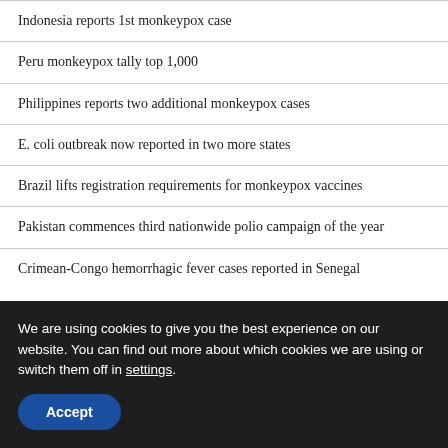Indonesia reports 1st monkeypox case
Peru monkeypox tally top 1,000
Philippines reports two additional monkeypox cases
E. coli outbreak now reported in two more states
Brazil lifts registration requirements for monkeypox vaccines
Pakistan commences third nationwide polio campaign of the year
Crimean-Congo hemorrhagic fever cases reported in Senegal
We are using cookies to give you the best experience on our website. You can find out more about which cookies we are using or switch them off in settings.